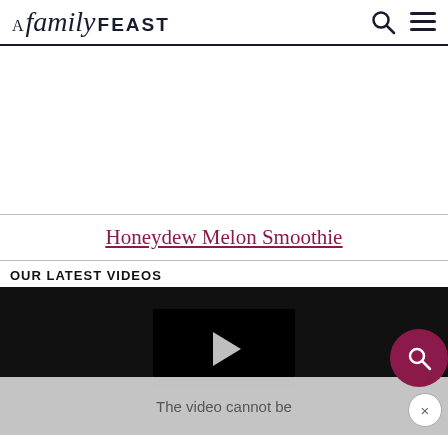A family FEAST
[Figure (other): Advertisement/blank white space area]
Honeydew Melon Smoothie
OUR LATEST VIDEOS
[Figure (screenshot): Video player showing black background with centered play button. An overlay popup shows 'The video cannot be' text with a dark-red circular search icon and a close X button.]